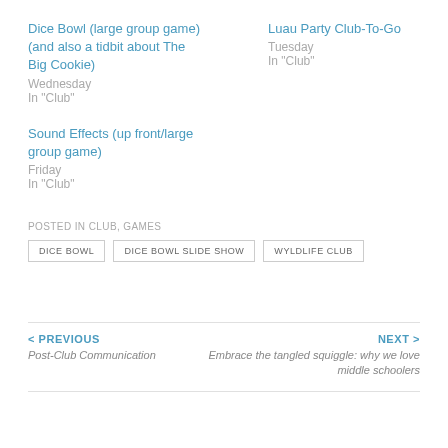Dice Bowl (large group game) (and also a tidbit about The Big Cookie)
Wednesday
In "Club"
Luau Party Club-To-Go
Tuesday
In "Club"
Sound Effects (up front/large group game)
Friday
In "Club"
POSTED IN CLUB, GAMES
DICE BOWL   DICE BOWL SLIDE SHOW   WYLDLIFE CLUB
< PREVIOUS
Post-Club Communication
NEXT >
Embrace the tangled squiggle: why we love middle schoolers